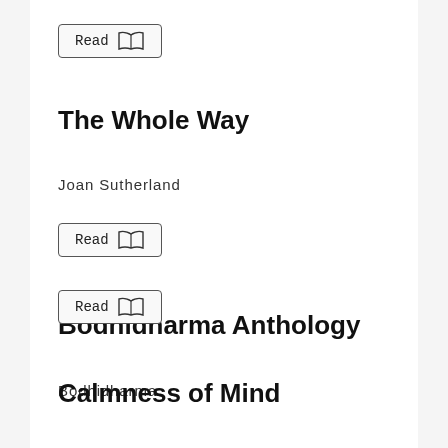[Figure (other): Read button with open book icon]
The Whole Way
Joan Sutherland
[Figure (other): Read button with open book icon]
Bodhidharma Anthology
Bodhidharma
[Figure (other): Read button with open book icon]
Calmness of Mind